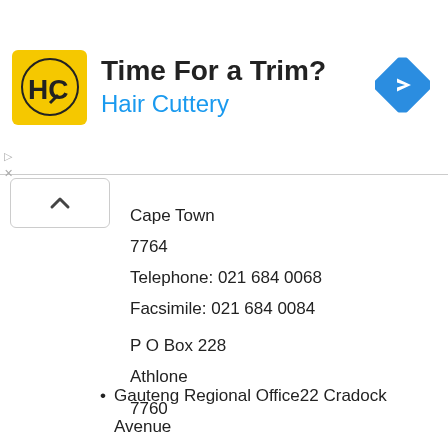[Figure (illustration): Hair Cuttery advertisement banner with yellow HC logo, headline 'Time For a Trim?', subheadline 'Hair Cuttery', and a blue diamond directional arrow icon on the right.]
Cape Town
7764
Telephone: 021 684 0068
Facsimile: 021 684 0084
P O Box 228
Athlone
7760
Gauteng Regional Office22 Cradock Avenue
Cradock Square
Office 01006
1st Floor